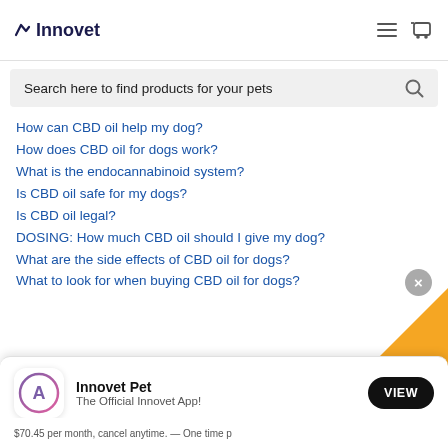Innovet
Search here to find products for your pets
How can CBD oil help my dog?
How does CBD oil for dogs work?
What is the endocannabinoid system?
Is CBD oil safe for my dogs?
Is CBD oil legal?
DOSING: How much CBD oil should I give my dog?
What are the side effects of CBD oil for dogs?
What to look for when buying CBD oil for dogs?
Innovet Pet
The Official Innovet App!
$70.45 per month, cancel anytime. — One time p